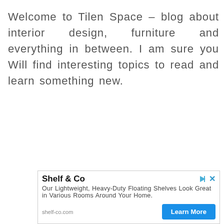Welcome to Tilen Space – blog about interior design, furniture and everything in between. I am sure you Will find interesting topics to read and learn something new.
[Figure (other): Advertisement banner for 'Shelf & Co' featuring text about lightweight heavy-duty floating shelves, a Learn More button, and shelf-co.com URL with ad icons.]